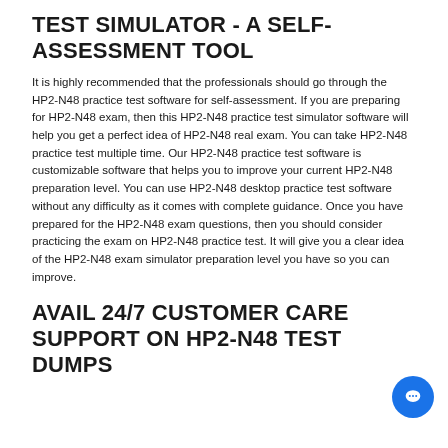TEST SIMULATOR - A SELF-ASSESSMENT TOOL
It is highly recommended that the professionals should go through the HP2-N48 practice test software for self-assessment. If you are preparing for HP2-N48 exam, then this HP2-N48 practice test simulator software will help you get a perfect idea of HP2-N48 real exam. You can take HP2-N48 practice test multiple time. Our HP2-N48 practice test software is customizable software that helps you to improve your current HP2-N48 preparation level. You can use HP2-N48 desktop practice test software without any difficulty as it comes with complete guidance. Once you have prepared for the HP2-N48 exam questions, then you should consider practicing the exam on HP2-N48 practice test. It will give you a clear idea of the HP2-N48 exam simulator preparation level you have so you can improve.
AVAIL 24/7 CUSTOMER CARE SUPPORT ON HP2-N48 TEST DUMPS